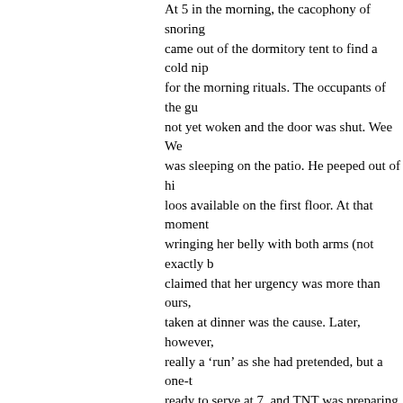At 5 in the morning, the cacophony of snoring came out of the dormitory tent to find a cold nip for the morning rituals. The occupants of the gu not yet woken and the door was shut. Wee We was sleeping on the patio. He peeped out of hi loos available on the first floor. At that moment wringing her belly with both arms (not exactly b claimed that her urgency was more than ours, taken at dinner was the cause. Later, however, really a 'run' as she had pretended, but a one-t ready to serve at 7, and TNT was preparing the capsicum scrambled eggs to be served at 9. A
A word about Southern fare. Not being a conno learnt that veg delicacies are to be relished, ea chutney, and not mixed up with poultry, pork ar to look forward to and do it right the next time.
My trash will be incomplete without mentioning Satisfied One, and thanking them for their cord the Singapore marathon, but opted out of the S
On On!